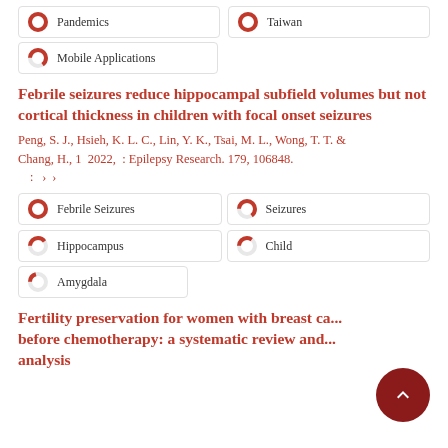Pandemics
Taiwan
Mobile Applications
Febrile seizures reduce hippocampal subfield volumes but not cortical thickness in children with focal onset seizures
Peng, S. J., Hsieh, K. L. C., Lin, Y. K., Tsai, M. L., Wong, T. T. & Chang, H., 1 2022,  : Epilepsy Research. 179, 106848.
Febrile Seizures
Seizures
Hippocampus
Child
Amygdala
Fertility preservation for women with breast ca... before chemotherapy: a systematic review and... analysis